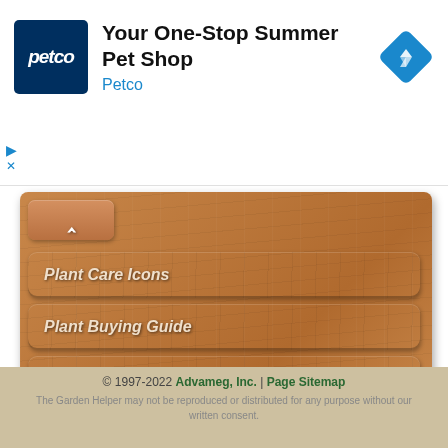[Figure (screenshot): Petco advertisement banner: Your One-Stop Summer Pet Shop]
Plant Care Icons
Plant Buying Guide
Plant Index
Encyclopedia
Cookies!
© 1997-2022 Advameg, Inc. | Page Sitemap
The Garden Helper may not be reproduced or distributed for any purpose without our written consent.